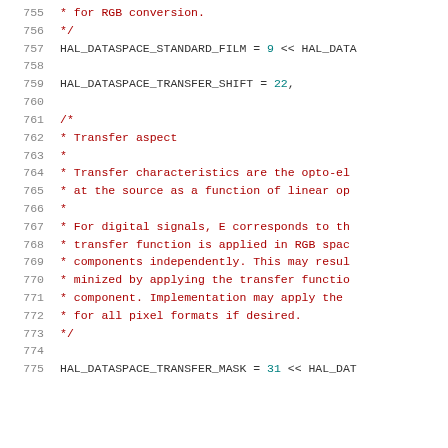755–775: Source code lines showing C/C++ enum definitions and block comments for HAL_DATASPACE constants
[Figure (screenshot): Code editor view showing lines 755-775 of a C/C++ header file defining HAL_DATASPACE enum values and comments about transfer characteristics]